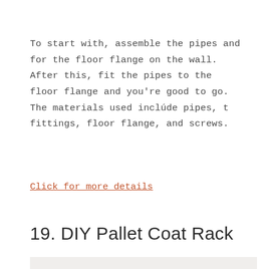To start with, assemble the pipes and for the floor flange on the wall. After this, fit the pipes to the floor flange and you're good to go. The materials used inclúde pipes, t fittings, floor flange, and screws.
Click for more details
19. DIY Pallet Coat Rack
[Figure (photo): Partial photo of a DIY pallet coat rack, light colored background visible at bottom of page]